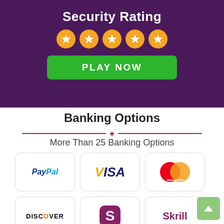Security Rating
[Figure (infographic): Five orange star rating circles in a row]
[Figure (infographic): Green PLAY NOW button]
Banking Options
More Than 25 Banking Options
[Figure (infographic): Payment method logos: PayPal, Visa, MasterCard, Discover, Skrill, and one more (partially visible)]